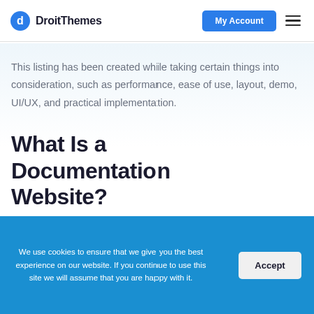DroitThemes | My Account
This listing has been created while taking certain things into consideration, such as performance, ease of use, layout, demo, UI/UX, and practical implementation.
What Is a Documentation Website?
We use cookies to ensure that we give you the best experience on our website. If you continue to use this site we will assume that you are happy with it.